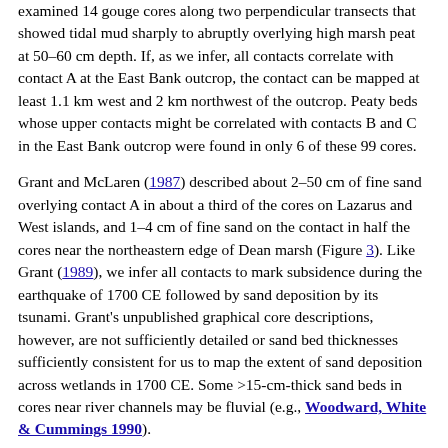examined 14 gouge cores along two perpendicular transects that showed tidal mud sharply to abruptly overlying high marsh peat at 50–60 cm depth. If, as we infer, all contacts correlate with contact A at the East Bank outcrop, the contact can be mapped at least 1.1 km west and 2 km northwest of the outcrop. Peaty beds whose upper contacts might be correlated with contacts B and C in the East Bank outcrop were found in only 6 of these 99 cores.
Grant and McLaren (1987) described about 2–50 cm of fine sand overlying contact A in about a third of the cores on Lazarus and West islands, and 1–4 cm of fine sand on the contact in half the cores near the northeastern edge of Dean marsh (Figure 3). Like Grant (1989), we infer all contacts to mark subsidence during the earthquake of 1700 CE followed by sand deposition by its tsunami. Grant's unpublished graphical core descriptions, however, are not sufficiently detailed or sand bed thicknesses sufficiently consistent for us to map the extent of sand deposition across wetlands in 1700 CE. Some >15-cm-thick sand beds in cores near river channels may be fluvial (e.g., Woodward, White & Cummings 1990).
Stratigraphy exposed at archeological sites and in gouge cores on the west side of Nehalem Bay suggests that shorelines subsided and were inundated by tsunamis as a result of the great earthquake of 1700 CE. Grant (1989) described five gouge cores near Cronin Point with 5–10 cm of woody to sandy peat sharply overlain by 20–30 cm of fine sandy sediment (locations 1–3, Figure 3). Ab...